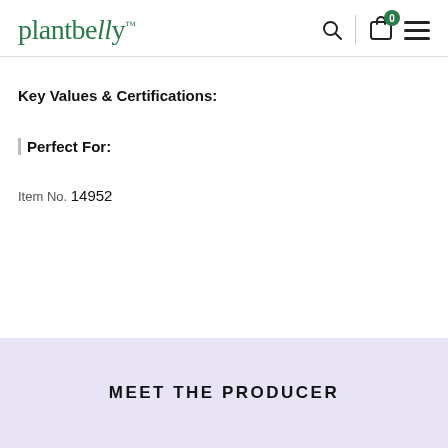plantbelly™
Key Values & Certifications:
Perfect For:
Item No. 14952
MEET THE PRODUCER